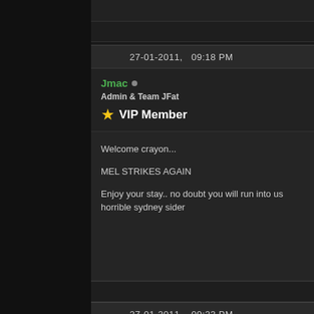27-01-2011,   09:18 PM
Jmac • Admin & Team JFat ★ VIP Member
Welcome crayon...

MEL STRIKES AGAIN

Enjoy your stay.. no doubt you will run into us horrible sydney sider
27-01-2011,   09:23 PM
guitar69 • Forum Regular
A nice Silver 6. Totally stock. Low K's.